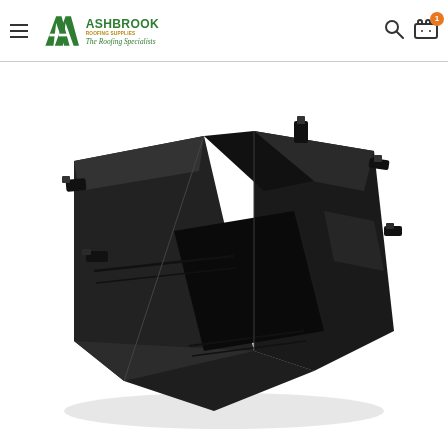Ashbrook Roofing Supplies — The Roofing Specialists
[Figure (photo): Black plastic square gutter union / jointing bracket component — a dark matte black PVC rainwater gutter union piece shown in three-quarter perspective view on a white background]